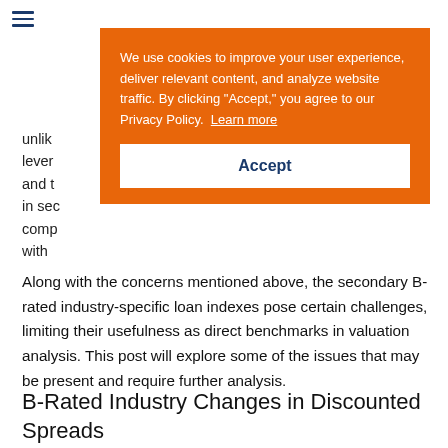IDC (hamburger menu icon + logo)
[Figure (other): Cookie consent overlay in orange background with text: 'We use cookies to improve your user experience, deliver relevant content, and analyze website traffic. By clicking "Accept," you agree to our Privacy Policy. Learn more' and an Accept button.]
Along with the concerns mentioned above, the secondary B-rated industry-specific loan indexes pose certain challenges, limiting their usefulness as direct benchmarks in valuation analysis. This post will explore some of the issues that may be present and require further analysis.
B-Rated Industry Changes in Discounted Spreads